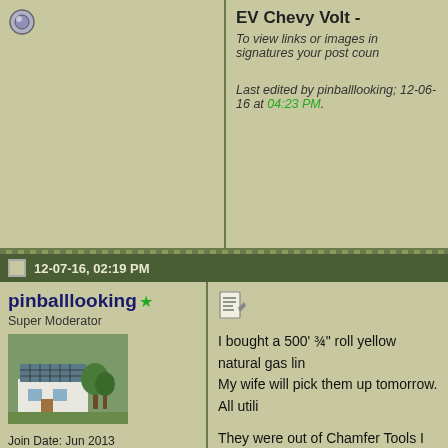EV Chevy Volt -
To view links or images in signatures your post coun
Last edited by pinballlooking; 12-06-16 at 04:23 PM.
12-07-16, 02:19 PM
pinballlooking
Super Moderator
[Figure (photo): User avatar photo showing a building with solar panels]
Join Date: Jun 2013
Location: SC
Posts: 2,915
Thanks: 171
Thanked 558 Times in 458 Posts
I bought a 500' ¾" roll yellow natural gas lin
My wife will pick them up tomorrow. All utili
They were out of Chamfer Tools I am trying
Some people tell me I can do it with a pock